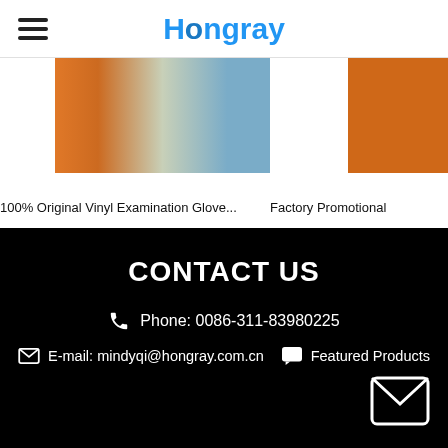Hongray
[Figure (photo): Product images: vinyl examination gloves (orange/skin toned) and factory promotional product (orange)]
100% Original Vinyl Examination Glove...
Factory Promotional
CONTACT US
Phone: 0086-311-83980225
E-mail: mindyqi@hongray.com.cn
Featured Products